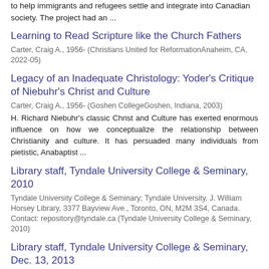to help immigrants and refugees settle and integrate into Canadian society. The project had an ...
Learning to Read Scripture like the Church Fathers
Carter, Craig A., 1956- (Christians United for ReformationAnaheim, CA, 2022-05)
Legacy of an Inadequate Christology: Yoder's Critique of Niebuhr's Christ and Culture
Carter, Craig A., 1956- (Goshen CollegeGoshen, Indiana, 2003)
H. Richard Niebuhr's classic Christ and Culture has exerted enormous influence on how we conceptualize the relationship between Christianity and culture. It has persuaded many individuals from pietistic, Anabaptist ...
Library staff, Tyndale University College & Seminary, 2010
Tyndale University College & Seminary; Tyndale University, J. William Horsey Library, 3377 Bayview Ave., Toronto, ON, M2M 3S4, Canada. Contact: repository@tyndale.ca (Tyndale University College & Seminary, 2010)
Library staff, Tyndale University College & Seminary, Dec. 13, 2013